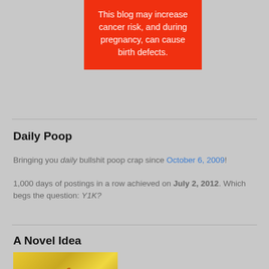[Figure (other): Red warning box with white text: 'This blog may increase cancer risk, and during pregnancy, can cause birth defects.']
Daily Poop
Bringing you daily bullshit poop crap since October 6, 2009!
1,000 days of postings in a row achieved on July 2, 2012. Which begs the question: Y1K?
A Novel Idea
[Figure (illustration): Book cover image showing cursive/script text at the bottom of the page, partially visible, yellow/gold background.]